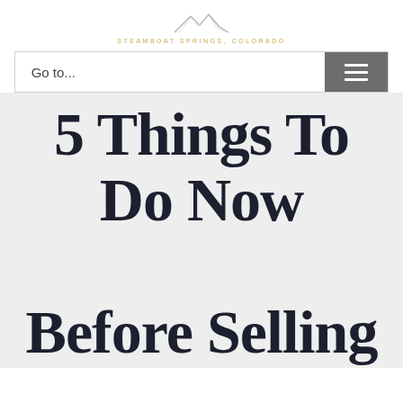STEAMBOAT SPRINGS, COLORADO
Go to...
5 Things To Do Now Before Selling Your House in Steamboat...